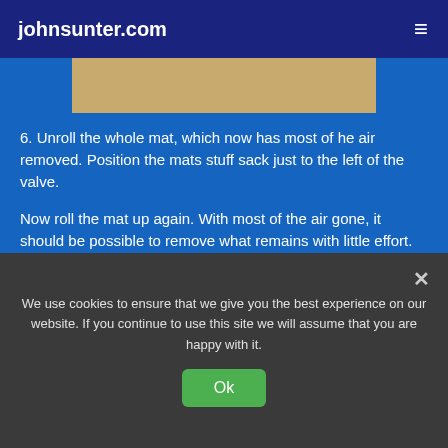johnsunter.com
[Figure (photo): Partial view of a rolled sleeping mat — tan/brown color, top portion visible]
6. Unroll the whole mat, which now has most of he air removed. Position the mats stuff sack just to the left of the valve.
Now roll the mat up again. With most of the air gone, it should be possible to remove what remains with little effort. Roll the mat really finely, and make sure the 2 left hand edges are lined up.
[Figure (photo): Broken/missing image placeholder]
We use cookies to ensure that we give you the best experience on our website. If you continue to use this site we will assume that you are happy with it.